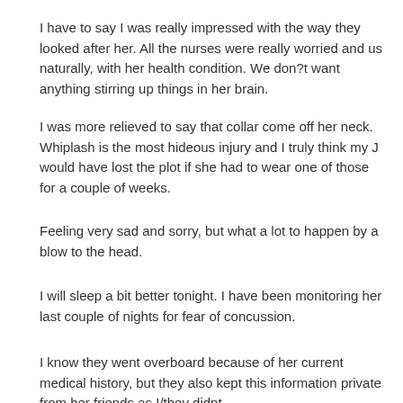I have to say I was really impressed with the way they looked after her. All the nurses were really worried and us naturally, with her health condition. We don?t want anything stirring up things in her brain.
I was more relieved to say that collar come off her neck. Whiplash is the most hideous injury and I truly think my J would have lost the plot if she had to wear one of those for a couple of weeks.
Feeling very sad and sorry, but what a lot to happen by a blow to the head.
I will sleep a bit better tonight. I have been monitoring her last couple of nights for fear of concussion.
I know they went overboard because of her current medical history, but they also kept this information private from her friends as I/they didnt